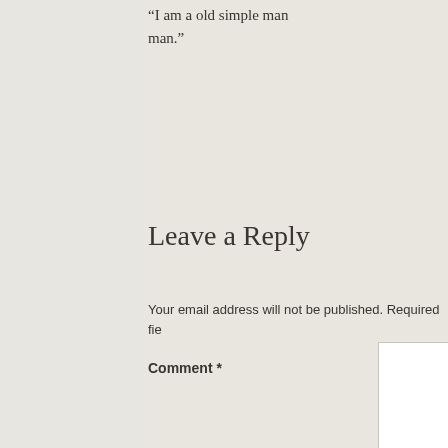“I am a old simple man."
Leave a Reply
Your email address will not be published. Required fie
Comment *